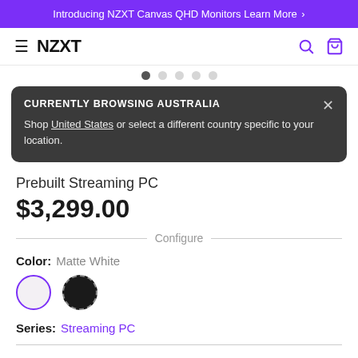Introducing NZXT Canvas QHD Monitors Learn More ›
[Figure (logo): NZXT navigation bar with hamburger menu, NZXT logo, search icon, and cart icon]
CURRENTLY BROWSING AUSTRALIA
Shop United States or select a different country specific to your location.
Prebuilt Streaming PC
$3,299.00
Configure
Color:  Matte White
[Figure (other): Two color swatches: white circle with purple border (selected) and black circle with dashed border]
Series:  Streaming PC